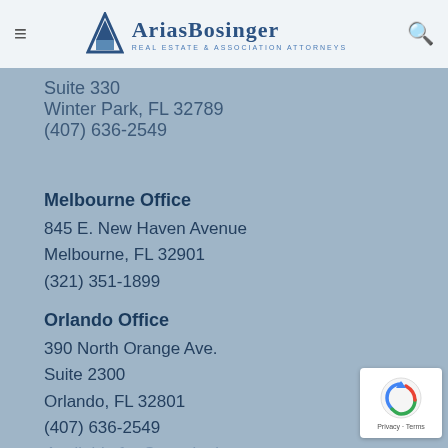Arias Bosinger Real Estate & Association Attorneys
Suite 330
Winter Park, FL 32789
(407) 636-2549
Melbourne Office
845 E. New Haven Avenue
Melbourne, FL 32901
(321) 351-1899
Orlando Office
390 North Orange Ave.
Suite 2300
Orlando, FL 32801
(407) 636-2549
Available for Consultation